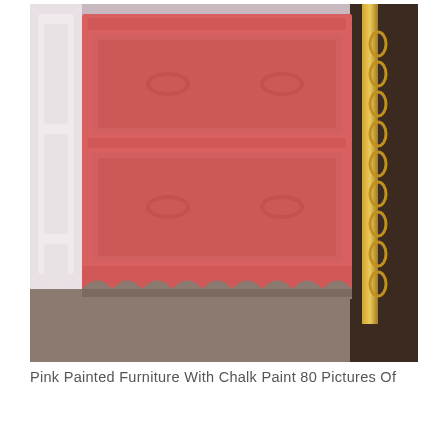[Figure (photo): A pink chalk-painted dresser with two drawers visible, each with two oval drawer pulls painted the same pink color. The dresser has a decorative scalloped base. It sits on a grey carpet next to white wainscoting on the left and a gold/brass bed frame on the right.]
Pink Painted Furniture With Chalk Paint 80 Pictures Of